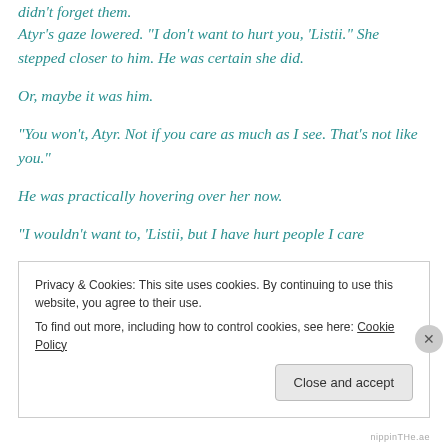didn't forget them.
Atyr's gaze lowered. “I don’t want to hurt you, ‘Listii.” She stepped closer to him. He was certain she did.
Or, maybe it was him.
“You won’t, Atyr. Not if you care as much as I see. That’s not like you.”
He was practically hovering over her now.
“I wouldn’t want to, ‘Listii, but I have hurt people I care
Privacy & Cookies: This site uses cookies. By continuing to use this website, you agree to their use.
To find out more, including how to control cookies, see here: Cookie Policy
Close and accept
nippinTHe.ae